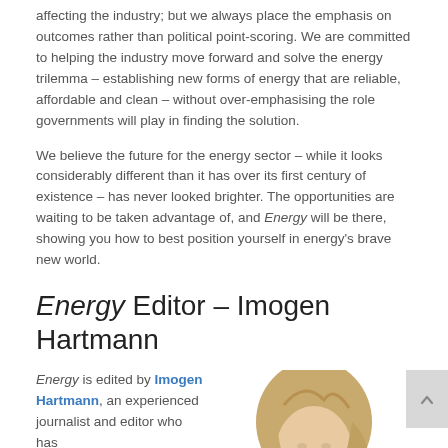affecting the industry; but we always place the emphasis on outcomes rather than political point-scoring. We are committed to helping the industry move forward and solve the energy trilemma – establishing new forms of energy that are reliable, affordable and clean – without over-emphasising the role governments will play in finding the solution.
We believe the future for the energy sector – while it looks considerably different than it has over its first century of existence – has never looked brighter. The opportunities are waiting to be taken advantage of, and Energy will be there, showing you how to best position yourself in energy's brave new world.
Energy Editor – Imogen Hartmann
Energy is edited by Imogen Hartmann, an experienced journalist and editor who has
[Figure (photo): Portrait photo of Imogen Hartmann, a woman with blonde hair, cropped at the shoulders, partially visible at bottom right of the page.]